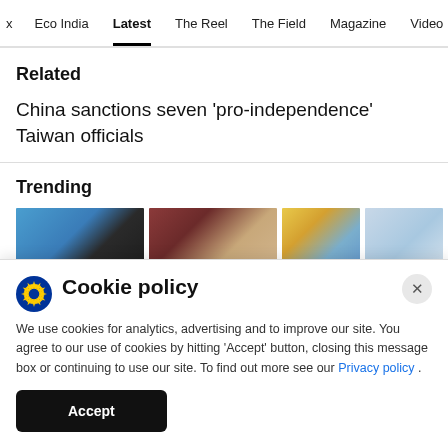x | Eco India | Latest | The Reel | The Field | Magazine | Video
Related
China sanctions seven ‘pro-independence’ Taiwan officials
Trending
[Figure (photo): Strip of five news thumbnail images showing various subjects including a person, fabric, a street scene, street lights, and a yellow object.]
Cookie policy
We use cookies for analytics, advertising and to improve our site. You agree to our use of cookies by hitting ‘Accept’ button, closing this message box or continuing to use our site. To find out more see our Privacy policy .
Accept